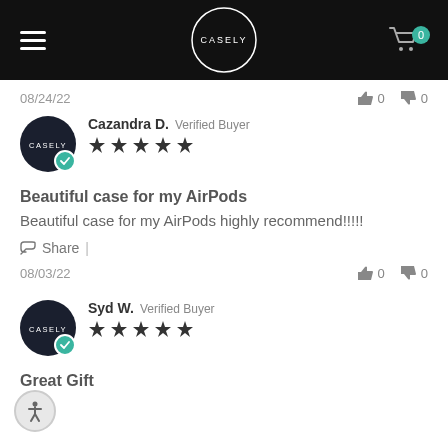CASELY
08/24/22   👍 0  👎 0
Cazandra D. Verified Buyer ★★★★★
Beautiful case for my AirPods
Beautiful case for my AirPods highly recommend!!!!!
Share |
08/03/22   👍 0  👎 0
Syd W. Verified Buyer ★★★★★
Great Gift